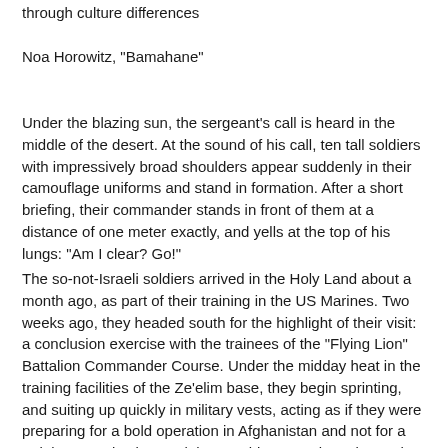through culture differences
Noa Horowitz, "Bamahane"
Under the blazing sun, the sergeant's call is heard in the middle of the desert. At the sound of his call, ten tall soldiers with impressively broad shoulders appear suddenly in their camouflage uniforms and stand in formation. After a short briefing, their commander stands in front of them at a distance of one meter exactly, and yells at the top of his lungs: "Am I clear? Go!"
The so-not-Israeli soldiers arrived in the Holy Land about a month ago, as part of their training in the US Marines. Two weeks ago, they headed south for the highlight of their visit: a conclusion exercise with the trainees of the "Flying Lion" Battalion Commander Course. Under the midday heat in the training facilities of the Ze'elim base, they begin sprinting, and suiting up quickly in military vests, acting as if they were preparing for a bold operation in Afghanistan and not for a training exercise in Israel that would start, at best, in another six hours.